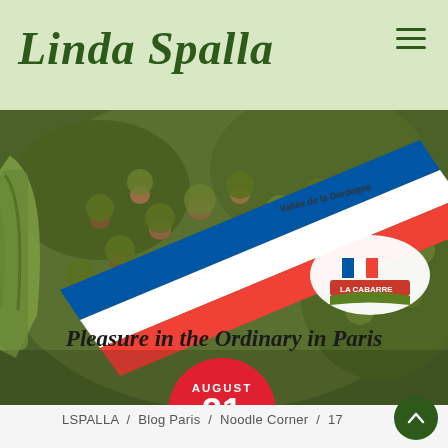Linda Spalla
[Figure (photo): Close-up photo of fresh hazelnuts in their husks with a French tricolor ribbon labeled 'Vallée de la Dordogne / LA CABARRE' draped across them. A zucchini is visible on the left edge.]
AUGUST 31 2021
Pleasure in the Ordinary in Paris
LSPALLA / Blog Paris / Noodle Corner / 17